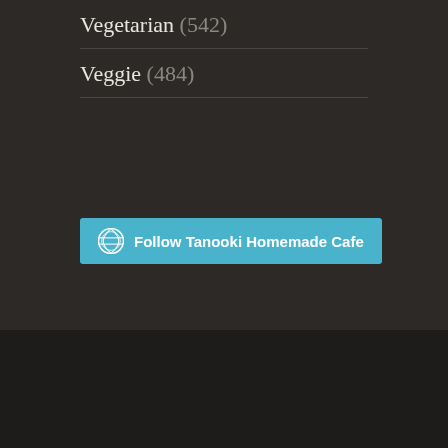Vegetarian (542)
Veggie (484)
[Figure (other): Follow Tanooki Homemade Cafe button with WordPress logo icon]
[Figure (other): Footer area with 4 WordPress logo icons in a row and 1 WordPress logo icon centered below]